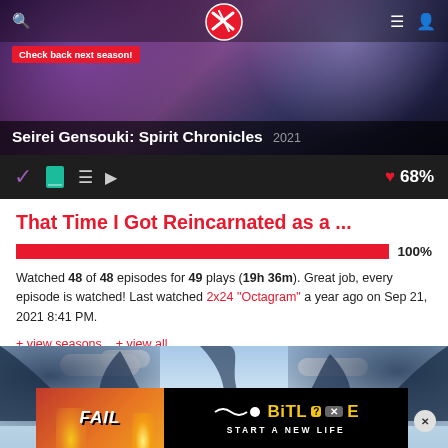[Figure (screenshot): Anime hero banner for Seirei Gensouki: Spirit Chronicles (2021) with purple/blue anime character artwork, site logo in red circle, search and menu icons, and 'Check back next season!' badge]
Seirei Gensouki: Spirit Chronicles 2021
[Figure (screenshot): Icon toolbar with checkmark (purple), book (teal), list, and play icons on dark background, with heart icon and 68% rating on right]
That Time I Got Reincarnated as a ...
[Figure (other): Red progress bar at 100%]
Watched 48 of 48 episodes for 49 plays (19h 36m). Great job, every episode is watched! Last watched 2x24 "Octagram" a year ago on Sep 21, 2021 8:41 PM.
+ view seasons  + view all
[Figure (illustration): Anime dragon scene banner at bottom with blue sky and clouds, overlaid with BitLife advertisement showing FAIL text and 'START A NEW LIFE' tagline]